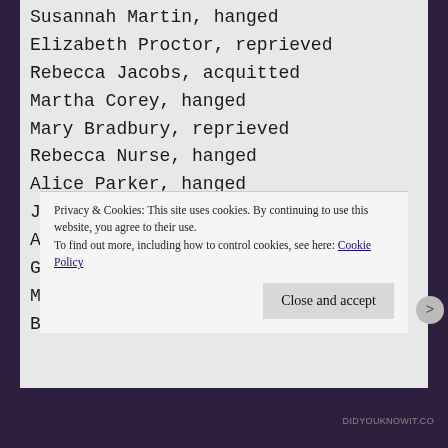Susannah Martin, hanged
Elizabeth Proctor, reprieved
Rebecca Jacobs, acquitted
Martha Corey, hanged
Mary Bradbury, reprieved
Rebecca Nurse, hanged
Alice Parker, hanged
John Proctor, hanged
Ann Pudeator, hanged
Giles Corey, pressed under stones
Martha Carrier, hanged
Bridget Bishop, hanged
Privacy & Cookies: This site uses cookies. By continuing to use this website, you agree to their use.
To find out more, including how to control cookies, see here: Cookie Policy
DIDYOUKNOWIT.CO